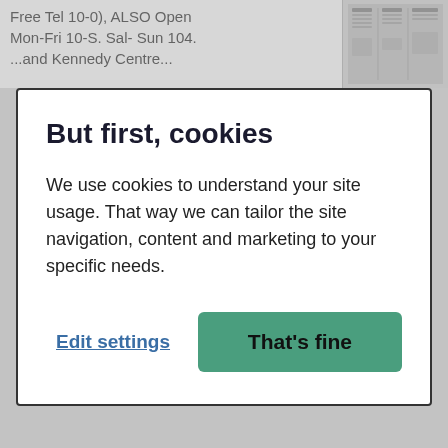Free Tel 10-0), ALSO Open Mon-Fri 10-S. Sal- Sun 104. ...and Kennedy Centre...
But first, cookies
We use cookies to understand your site usage. That way we can tailor the site navigation, content and marketing to your specific needs.
Edit settings
That's fine
25 July 2017 - Reading Evening Post
PLUMBING “… PROMPT any bathe. sink tam. wo.h handbasms., washing machines. tionks and cylinders. burst *rater mains repiered Load work and swam fools repaired 24-hour service. Pleading 412172 DRAINAGE IXISPIT. Any kind of drainage and ground wort.